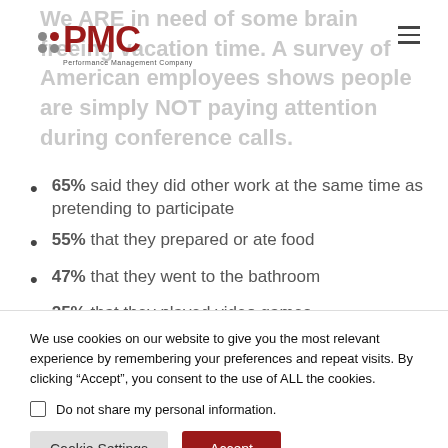We ARE in need of some brain freeing vacation time. A survey of American employees shows people are simply NOT paying attention during conference calls.
65% said they did other work at the same time as pretending to participate
55% that they prepared or ate food
47% that they went to the bathroom
25% that they played video games
We use cookies on our website to give you the most relevant experience by remembering your preferences and repeat visits. By clicking “Accept”, you consent to the use of ALL the cookies.
Do not share my personal information.
Cookie Settings
Accept